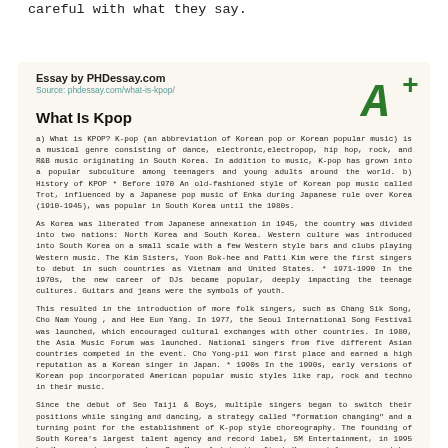careful with what they say.
Essay by PHDessay.com
Source: phdessay.com/what-is-kpop/
[Figure (other): A+ grade symbol in green handwritten style]
What Is Kpop
a) What is KPOP? K-pop (an abbreviation of Korean pop or Korean popular music) is a musical genre consisting of dance, electronic,electropop, hip hop, rock, and R&B music originating in South Korea. In addition to music, K-pop has grown into a popular subculture among teenagers and young adults around the world. b) History of KPOP * Before 1970 An old-fashioned style of Korean pop music called Trot, influenced by a Japanese pop music of Enka during Japanese rule over Korea (1910-1945), was popular in South Korea until the 1980s.
As Korea was liberated from Japanese annexation in 1945, the country was divided into two nations: North Korea and South Korea. Western culture was introduced into South Korea on a small scale with a few Western style bars and clubs playing Western music. The Kim Sisters, Yoon Bok-hee and Patti Kim were the first singers to debut in such countries as Vietnam and United States. * 1971-1990 In the 1970s, the new career of DJs became popular, deeply impacting the teenage cultures. Guitars and jeans were the symbols of youth.
This resulted in the introduction of more folk singers, such as Chang Sik Song, Cho Nam Young , and Hee Eun Yang. In 1977, the Seoul International Song Festival was launched, which encouraged cultural exchanges with other countries. In 1980, the Asia Music Forum was launched. National singers from five different Asian countries competed in the event. Cho Yong-pil won first place and earned a high reputation as a Korean singer in Japan. * 1990s In the 1990s, early versions of Korean pop incorporated American popular music styles like rap, rock and techno in their music.
Since the debut of Seo Taiji & Boys, multiple singers began to switch their positions while singing and dancing, a strategy called "formation changing" and a turning point for the establishment of K-pop style choreography. The founding of South Korea's largest talent agency and record label, SM Entertainment, in 1995 by Korean entrepreneur Lee Soo Man, led to the first K-pop girl groups and boy bands. By the late 1990s, H.O.T.